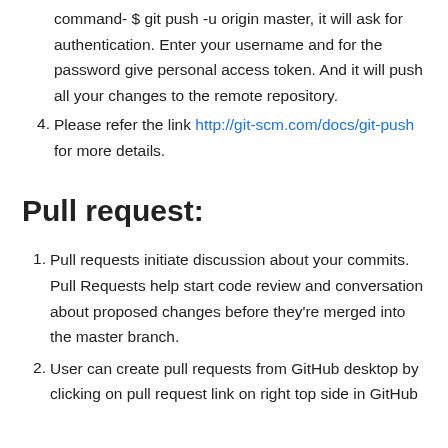command- $ git push -u origin master, it will ask for authentication. Enter your username and for the password give personal access token. And it will push all your changes to the remote repository.
Please refer the link http://git-scm.com/docs/git-push for more details.
Pull request:
Pull requests initiate discussion about your commits. Pull Requests help start code review and conversation about proposed changes before they're merged into the master branch.
User can create pull requests from GitHub desktop by clicking on pull request link on right top side in GitHub